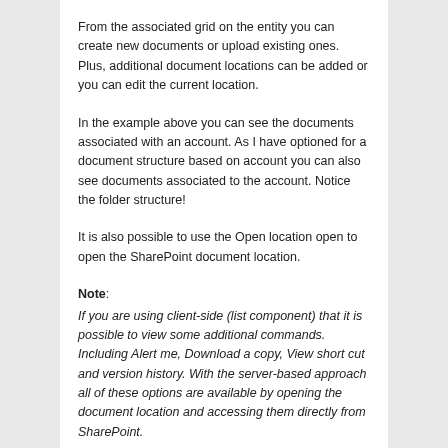From the associated grid on the entity you can create new documents or upload existing ones. Plus, additional document locations can be added or you can edit the current location.
In the example above you can see the documents associated with an account. As I have optioned for a document structure based on account you can also see documents associated to the account. Notice the folder structure!
It is also possible to use the Open location open to open the SharePoint document location.
Note: If you are using client-side (list component) that it is possible to view some additional commands. Including Alert me, Download a copy, View short cut and version history. With the server-based approach all of these options are available by opening the document location and accessing them directly from SharePoint.